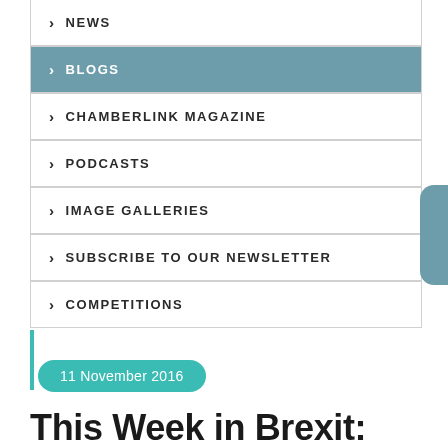NEWS
BLOGS
CHAMBERLINK MAGAZINE
PODCASTS
IMAGE GALLERIES
SUBSCRIBE TO OUR NEWSLETTER
COMPETITIONS
11 November 2016
This Week in Brexit: 11th October